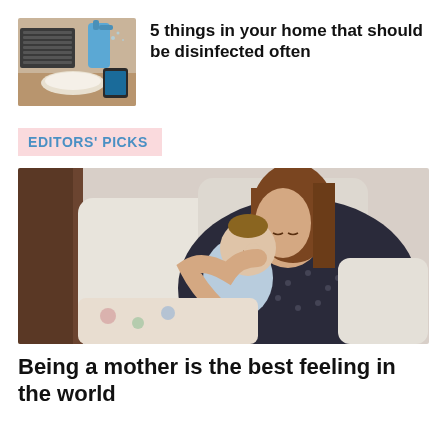[Figure (photo): Photo of cleaning supplies and disinfectant on a wooden surface with a keyboard]
5 things in your home that should be disinfected often
EDITORS' PICKS
[Figure (photo): Mother holding a sleeping newborn baby against her chest, sitting on a bed]
Being a mother is the best feeling in the world